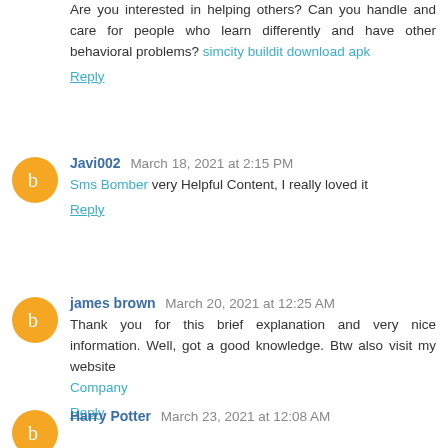Are you interested in helping others? Can you handle and care for people who learn differently and have other behavioral problems? simcity buildit download apk
Reply
Javi002 March 18, 2021 at 2:15 PM
Sms Bomber very Helpful Content, I really loved it
Reply
james brown March 20, 2021 at 12:25 AM
Thank you for this brief explanation and very nice information. Well, got a good knowledge. Btw also visit my website Company
Reply
Harry Potter March 23, 2021 at 12:08 AM